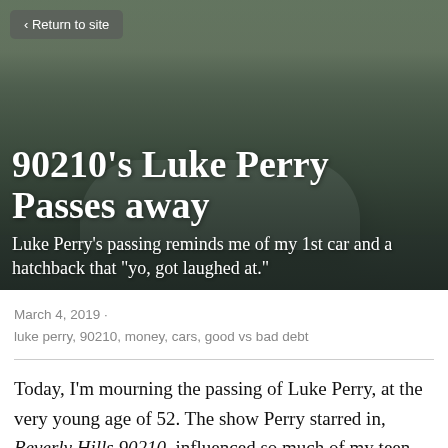[Figure (photo): Hero image of a sports car on a street with trees in the background, overlaid with article title and subtitle text]
90210's Luke Perry Passes away
Luke Perry's passing reminds me of my 1st car and a hatchback that "yo, got laughed at."
March 4, 2019 ·
luke perry, 90210, money, cars, good vs bad debt
Today, I'm mourning the passing of Luke Perry, at the very young age of 52. The show Perry starred in, Beverly Hills 90210, influenced so much of my teen years,